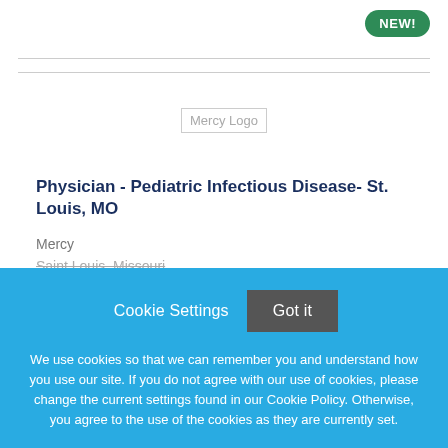[Figure (logo): Mercy Logo placeholder image]
Physician - Pediatric Infectious Disease- St. Louis, MO
Mercy
Saint Louis, Missouri
Cookie Settings  Got it
We use cookies so that we can remember you and understand how you use our site. If you do not agree with our use of cookies, please change the current settings found in our Cookie Policy. Otherwise, you agree to the use of the cookies as they are currently set.